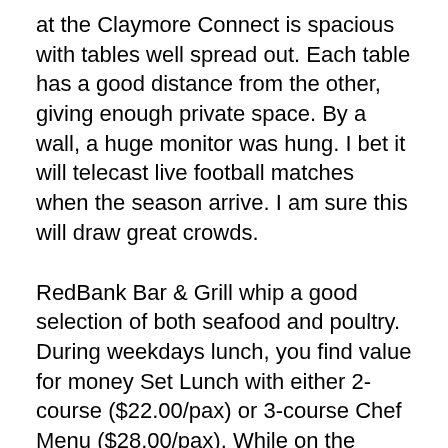at the Claymore Connect is spacious with tables well spread out. Each table has a good distance from the other, giving enough private space. By a wall, a huge monitor was hung. I bet it will telecast live football matches when the season arrive. I am sure this will draw great crowds.
RedBank Bar & Grill whip a good selection of both seafood and poultry. During weekdays lunch, you find value for money Set Lunch with either 2-course ($22.00/pax) or 3-course Chef Menu ($28.00/pax). While on the weekend, RedBank Bar & Grill serve Brunch Menu with the standard Brunch affairs. We ordered the Egg Benedict with Sausage.